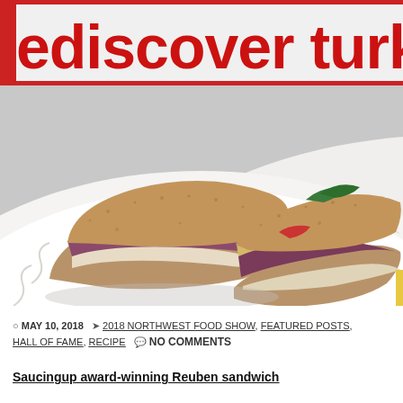[Figure (photo): A photograph of a sandwich cut in half displayed on a white scalloped plate. Two halves of a sandwich made with seeded rye bread, deli meat (turkey/pastrami), cheese, and condiments are shown. In the background there is a red and white banner partially visible reading 'Rediscover Turkey'.]
MAY 10, 2018   2018 NORTHWEST FOOD SHOW, FEATURED POSTS, HALL OF FAME, RECIPE   NO COMMENTS
Saucingup award-winning Reuben sandwich